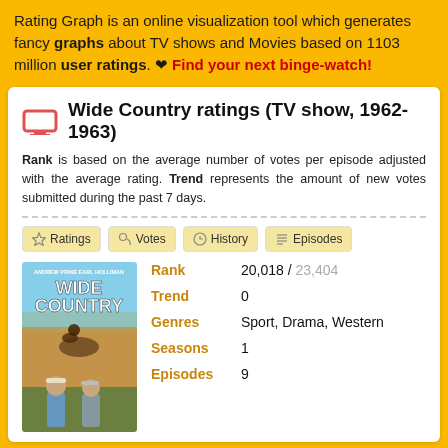Rating Graph is an online visualization tool which generates fancy graphs about TV shows and Movies based on 1103 million user ratings. ❤ Find your next binge-watch!
Wide Country ratings (TV show, 1962-1963)
Rank is based on the average number of votes per episode adjusted with the average rating. Trend represents the amount of new votes submitted during the past 7 days.
Ratings
Votes
History
Episodes
[Figure (photo): Wide Country TV show poster showing two men in cowboy hats with rodeo scene]
| Field | Value |
| --- | --- |
| Rank | 20,018 / 23,404 |
| Trend | 0 |
| Genres | Sport, Drama, Western |
| Seasons | 1 |
| Episodes | 9 |